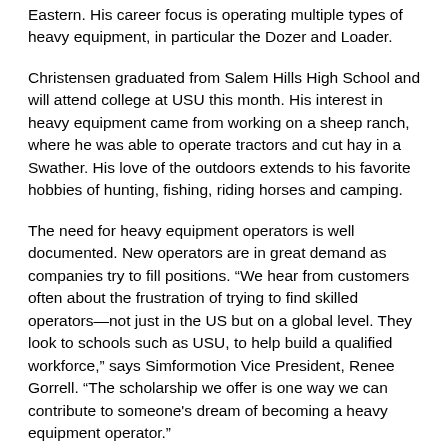Eastern. His career focus is operating multiple types of heavy equipment, in particular the Dozer and Loader.
Christensen graduated from Salem Hills High School and will attend college at USU this month. His interest in heavy equipment came from working on a sheep ranch, where he was able to operate tractors and cut hay in a Swather. His love of the outdoors extends to his favorite hobbies of hunting, fishing, riding horses and camping.
The need for heavy equipment operators is well documented. New operators are in great demand as companies try to fill positions. “We hear from customers often about the frustration of trying to find skilled operators—not just in the US but on a global level. They look to schools such as USU, to help build a qualified workforce,” says Simformotion Vice President, Renee Gorrell. “The scholarship we offer is one way we can contribute to someone's dream of becoming a heavy equipment operator.”
Simformotion has been awarding the Cat Simulators Scholarship since 2011.